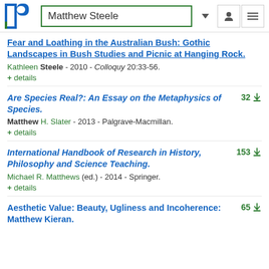Matthew Steele
Fear and Loathing in the Australian Bush: Gothic Landscapes in Bush Studies and Picnic at Hanging Rock. Kathleen Steele - 2010 - Colloquy 20:33-56. + details
Are Species Real?: An Essay on the Metaphysics of Species. Matthew H. Slater - 2013 - Palgrave-Macmillan. + details. 32 downloads
International Handbook of Research in History, Philosophy and Science Teaching. Michael R. Matthews (ed.) - 2014 - Springer. + details. 153 downloads
Aesthetic Value: Beauty, Ugliness and Incoherence: Matthew Kieran. 65 downloads